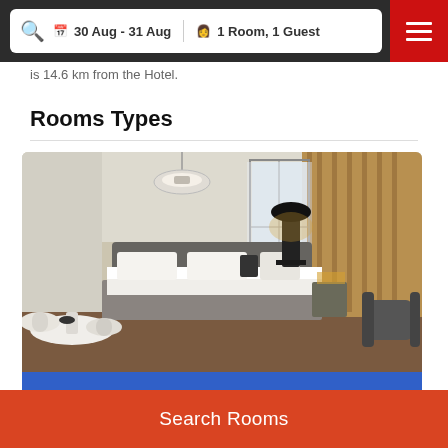30 Aug - 31 Aug  1 Room, 1 Guest
is 14.6 km from the hotel.
Rooms Types
[Figure (photo): Hotel studio room interior showing a large bed with white linens, a round white table with chairs, a black floor lamp, pendant light fixture, and warm curtains by the window. Blue banner at bottom reads VIEW GALLERY PHOTOS with arrow.]
Studio   36 m² / Size